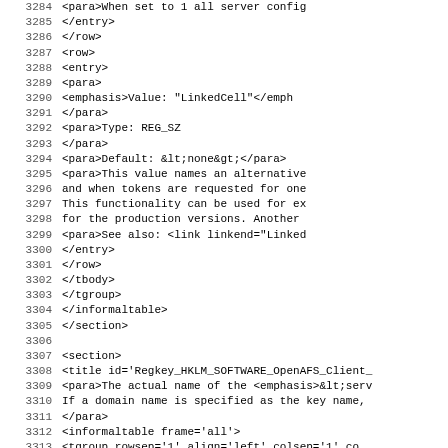Source code listing, lines 3284-3315, XML document markup
3284: <para>When set to 1 all server config
3285:             </entry>
3286:           </row>
3287:           <row>
3288:             <entry>
3289:               <para>
3290:                 <emphasis>Value: "LinkedCell"</emph
3291:               </para>
3292:               <para>Type: REG_SZ
3293:               </para>
3294:               <para>Default: &lt;none&gt;</para>
3295:               <para>This value names an alternative
3296:               and when tokens are requested for one
3297:               This functionality can be used for ex
3298:               for the production versions.  Another
3299:               <para>See also: <link linkend="Linked
3300:             </entry>
3301:           </row>
3302:         </tbody>
3303:       </tgroup>
3304:     </informaltable>
3305:     </section>
3306:
3307:     <section>
3308:       <title id='Regkey_HKLM_SOFTWARE_OpenAFS_Client_
3309:       <para>The actual name of the <emphasis>&lt;serv
3310:       If a domain name is specified as the key name,
3311:       </para>
3312:       <informaltable frame='all'>
3313:         <tgroup rowsep='1' align='left' colsep='1' co
3314:           <colspec colwidth='447pt' colname='c1' />
3315:           <tbody>